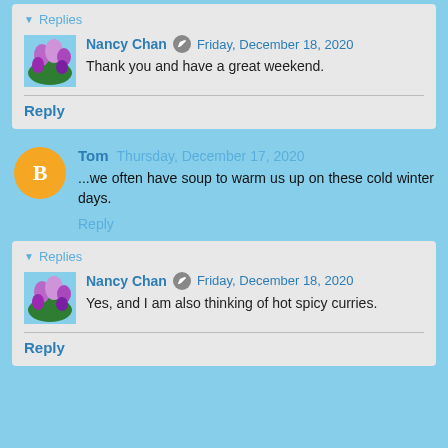▾ Replies
Nancy Chan · Friday, December 18, 2020
Thank you and have a great weekend.
Reply
Tom Thursday, December 17, 2020
...we often have soup to warm us up on these cold winter days.
Reply
▾ Replies
Nancy Chan · Friday, December 18, 2020
Yes, and I am also thinking of hot spicy curries.
Reply